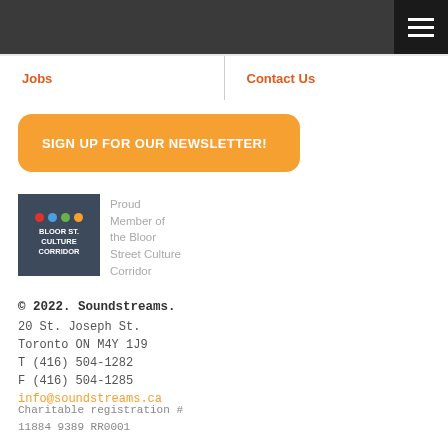[Figure (other): Dark grey header bar with hamburger menu icon on right side]
Jobs | Contact Us
SIGN UP FOR OUR NEWSLETTER!
[Figure (logo): Bloor St. Culture Corridor logo with four colored dots (red, blue, green, orange) on dark background]
Proud Member of the Bloor Street Culture Corridor
© 2022. Soundstreams.
20 St. Joseph St.
Toronto ON M4Y 1J9
T (416) 504-1282
F (416) 504-1285
info@soundstreams.ca
Charitable registration #
11884 9389 RR0001